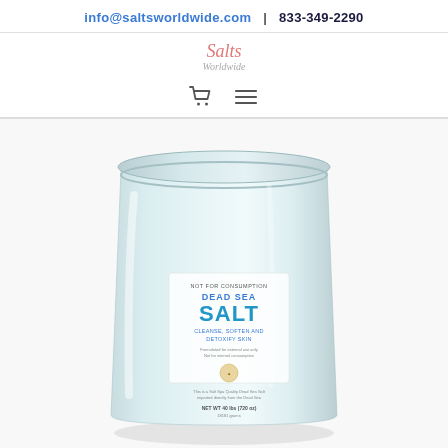info@saltsworldwide.com  |  833-349-2290
[Figure (logo): Salts Worldwide logo in pink/red cursive script with subtitle 'Worldwide']
[Figure (illustration): Navigation icons: shopping cart and hamburger menu]
[Figure (photo): Large white plastic tub/bucket of Dead Sea Salt with label showing 'NOT FOR CONSUMPTION - DEAD SEA SALT - CLEANSE, SOFTEN AND DETOXIFY SKIN'. Product from Salts Worldwide.]